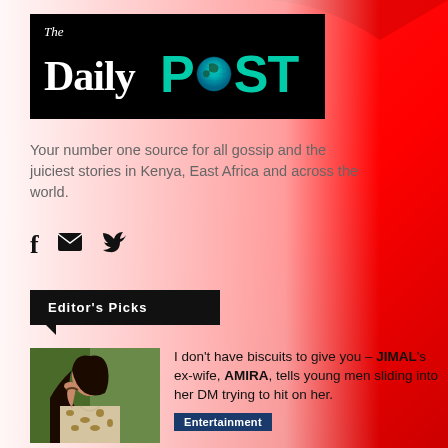[Figure (logo): The Daily POST newspaper logo on black background with globe replacing the O in POST]
Your number one source for all gossip and the juiciest stories in Kenya, East Africa and across the world.
[Figure (other): Social media icons: Facebook (f), email (envelope), Twitter (bird)]
Editor's Picks
[Figure (photo): Woman in leopard print top with dark hair]
I don't have biscuits to give you – JIMAL's ex-wife, AMIRA, tells young men sliding into her DM trying to hit on her.
Entertainment